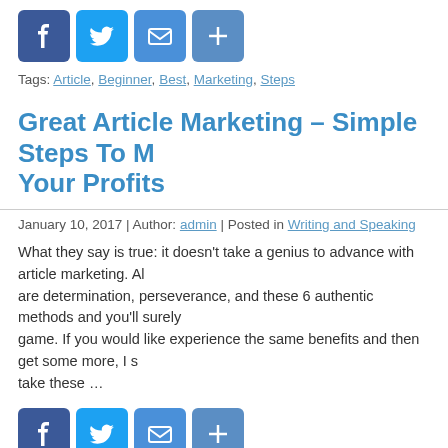[Figure (other): Social share buttons: Facebook, Twitter, Email, Share (plus icon)]
Tags: Article, Beginner, Best, Marketing, Steps
Great Article Marketing – Simple Steps To Maximize Your Profits
January 10, 2017 | Author: admin | Posted in Writing and Speaking
What they say is true: it doesn't take a genius to advance with article marketing. All you need are determination, perseverance, and these 6 authentic methods and you'll surely advance in the game. If you would like experience the same benefits and then get some more, I suggest you take these …
[Figure (other): Social share buttons: Facebook, Twitter, Email, Share (plus icon)]
Tags: Article, Great, Marketing, Maximize, Profits, Simple, Steps